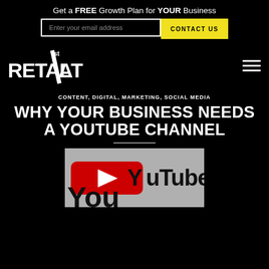Get a FREE Growth Plan for YOUR Business
[Figure (screenshot): Email input field and CONTACT US button on black background]
[Figure (logo): Retaliate 1st logo in white on black background]
CONTENT, DIGITAL, MARKETING, SOCIAL MEDIA
WHY YOUR BUSINESS NEEDS A YOUTUBE CHANNEL
[Figure (photo): Close-up photo of YouTube logo — red play button with white arrow and YouTube text, partially cropped]